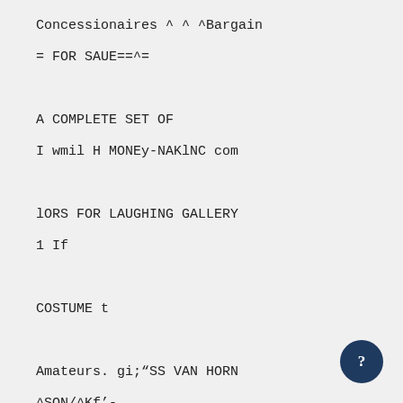Concessionaires ^ ^ ^Bargain
= FOR SAUE==^=
A COMPLETE SET OF
I wmil H MONEy-NAKlNC com
lORS FOR LAUGHING GALLERY
1 If
COSTUME t
Amateurs. gi;“SS VAN HORN
^SON/^Kf'-
™ The GusSun Booking